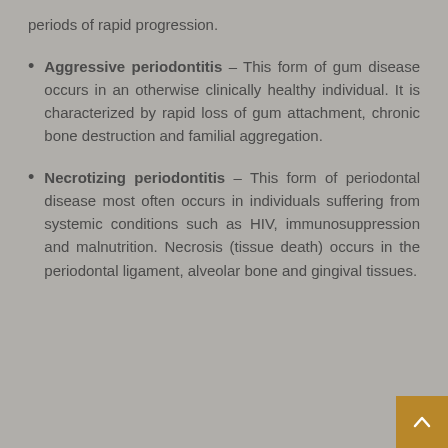periods of rapid progression.
Aggressive periodontitis – This form of gum disease occurs in an otherwise clinically healthy individual. It is characterized by rapid loss of gum attachment, chronic bone destruction and familial aggregation.
Necrotizing periodontitis – This form of periodontal disease most often occurs in individuals suffering from systemic conditions such as HIV, immunosuppression and malnutrition. Necrosis (tissue death) occurs in the periodontal ligament, alveolar bone and gingival tissues.